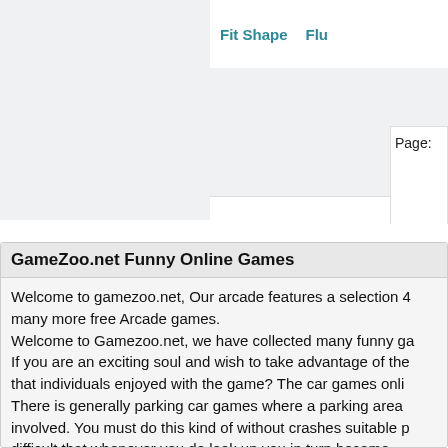Fit Shape   Flu
Page:
GameZoo.net Funny Online Games
Welcome to gamezoo.net, Our arcade features a selection 4 many more free Arcade games.
Welcome to Gamezoo.net, we have collected many funny ga
If you are an exciting soul and wish to take advantage of the that individuals enjoyed with the game? The car games onli There is generally parking car games where a parking area involved. You must do this kind of without crashes suitable p difficult that whenever you do look up you in turn become